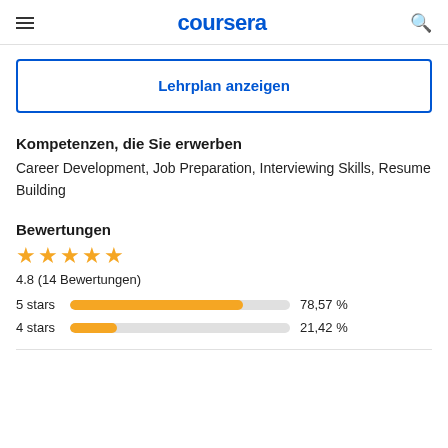coursera
Lehrplan anzeigen
Kompetenzen, die Sie erwerben
Career Development, Job Preparation, Interviewing Skills, Resume Building
Bewertungen
[Figure (bar-chart): Bewertungen]
4.8 (14 Bewertungen)